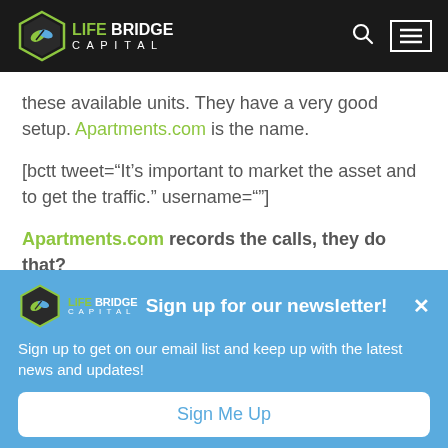Life Bridge Capital — navigation bar with logo, search icon, and menu icon
these available units. They have a very good setup. Apartments.com is the name.
[bctt tweet="It's important to market the asset and to get the traffic." username=""]
Apartments.com records the calls, they do that?
Sign up for our newsletter! Sign up to get on our email list and keep up with the latest news and updates! Sign Me Up